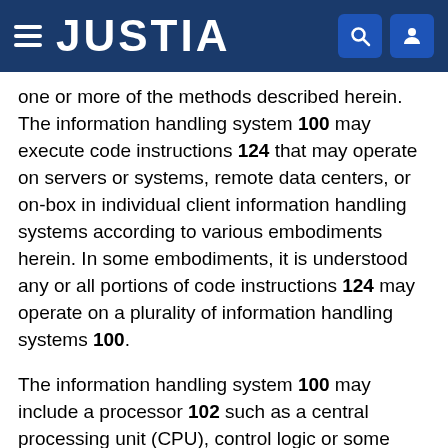JUSTIA
one or more of the methods described herein. The information handling system 100 may execute code instructions 124 that may operate on servers or systems, remote data centers, or on-box in individual client information handling systems according to various embodiments herein. In some embodiments, it is understood any or all portions of code instructions 124 may operate on a plurality of information handling systems 100.
The information handling system 100 may include a processor 102 such as a central processing unit (CPU), control logic or some combination of the same as processing resources. Additional processing resources for executing instructions according to embodiments herein may include one or more embedded controllers (ECs) 120 or timing controllers (TCON) 136 capable of